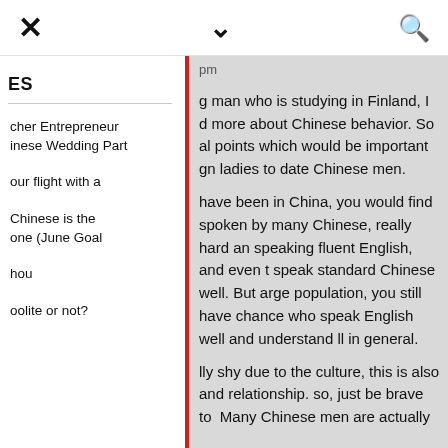× ˅ 🔍
ES
cher Entrepreneur
inese Wedding Part
our flight with a
Chinese is the one (June Goal
hou
oolite or not?
g man who is studying in Finland, I d more about Chinese behavior. So al points which would be important gn ladies to date Chinese men.
have been in China, you would find spoken by many Chinese, really hard an speaking fluent English, and even t speak standard Chinese well. But arge population, you still have chance who speak English well and understand ll in general.
lly shy due to the culture, this is also and relationship. so, just be brave to Many Chinese men are actually